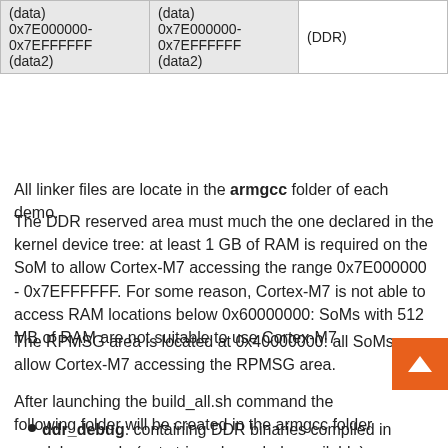| (data)
0x7E000000-
0x7EFFFFFF
(data2) | (data)
0x7E000000-
0x7EFFFFFF
(data2) | (DDR) |
All linker files are locate in the armgcc folder of each demo.
The DDR reserved area must much the one declared in the kernel device tree: at least 1 GB of RAM is required on the SoM to allow Cortex-M7 accessing the range 0x7E000000 - 0x7EFFFFFF. For some reason, Cortex-M7 is not able to access RAM locations below 0x60000000: SoMs with 512 MB of RAM are not suitable to use Cortex-M7.
The RPMSG area is located at 0x40000000: all SoMs allow Cortex-M7 accessing the RPMSG area.
After launching the build_all.sh command the following folder will be created in the armgcc folder
ddr_debug: containing DDR binaries compiled in debug mode (not stripped: symbols available)